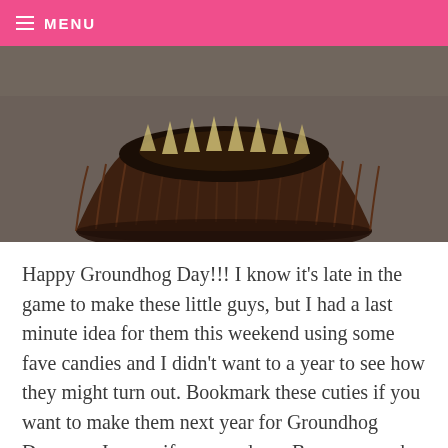≡ MENU
[Figure (photo): Close-up photo of a chocolate cupcake in a dark paper liner, shot from a low angle showing the ridged sides of the cupcake wrapper and the top of the cupcake, on a gray surface.]
Happy Groundhog Day!!! I know it's late in the game to make these little guys, but I had a last minute idea for them this weekend using some fave candies and I didn't want to a year to see how they might turn out. Bookmark these cuties if you want to make them next year for Groundhog Day… or I guess if you need any Beaver cupcake inspiration, then the faces could come in handy for that too. ; )